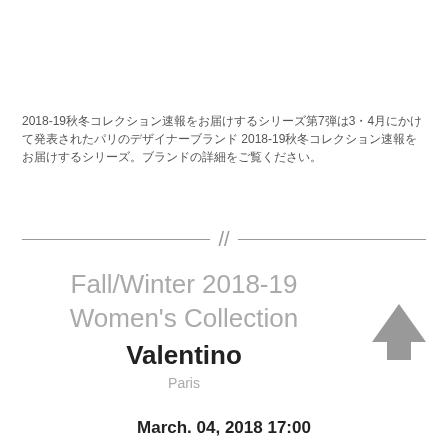2018-19秋冬コレクション速報をお届けするシリーズ第7弾は3・4月にかけて発表されたパリのデザイナーブランド 2018-19秋冬コレクション速報をお届けするシリーズ。ブランドの詳細をご覧ください。
Fall/Winter 2018-19 Women's Collection Valentino Paris
March. 04, 2018 17:00